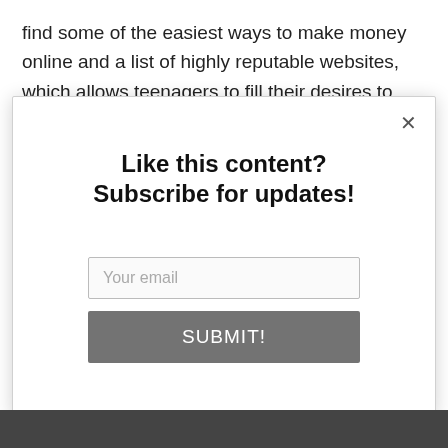find some of the easiest ways to make money online and a list of highly reputable websites, which allows teenagers to fill their desires to earn online within the
[Figure (screenshot): Modal popup dialog with title 'Like this content? Subscribe for updates!', an email input field with placeholder 'Your email', and a gray SUBMIT! button. A close (×) button is in the top right corner.]
AddThis